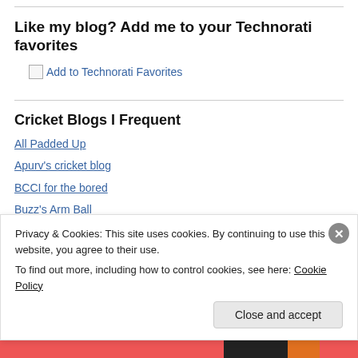Like my blog? Add me to your Technorati favorites
[Figure (other): Broken image icon with link text 'Add to Technorati Favorites']
Cricket Blogs I Frequent
All Padded Up
Apurv's cricket blog
BCCI for the bored
Buzz's Arm Ball
Privacy & Cookies: This site uses cookies. By continuing to use this website, you agree to their use. To find out more, including how to control cookies, see here: Cookie Policy
Close and accept